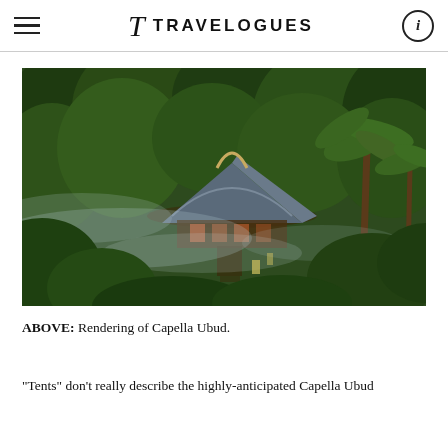TRAVELOGUES
[Figure (photo): Aerial view of Capella Ubud resort nestled in lush tropical jungle with mist, showing a large tent-like structure with curved roof surrounded by dense green foliage and palm trees.]
ABOVE: Rendering of Capella Ubud.
“Tents” don’t really describe the highly-anticipated Capella Ubud